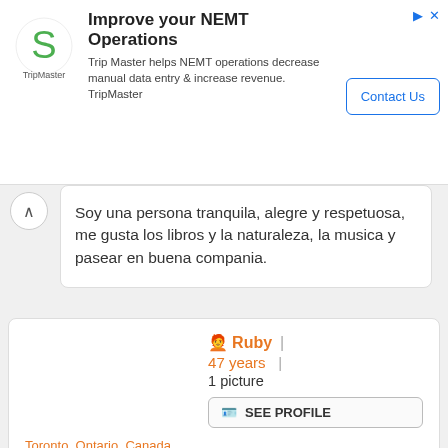[Figure (logo): TripMaster logo with green S-shaped icon]
Improve your NEMT Operations
Trip Master helps NEMT operations decrease manual data entry & increase revenue. TripMaster
Contact Us
Soy una persona tranquila, alegre y respetuosa, me gusta los libros y la naturaleza, la musica y pasear en buena compania.
🧑‍🦰 Ruby  |  47 years  |  1 picture
SEE PROFILE
Toronto, Ontario, Canada
looking for: men
To:meet people, chat for free